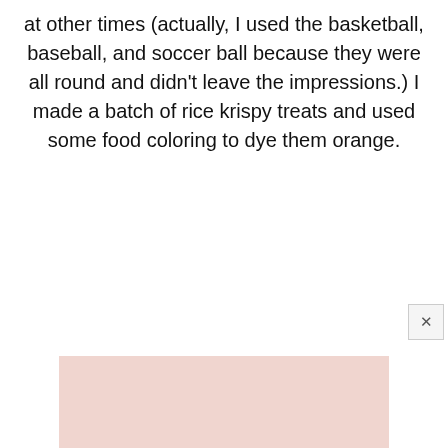at other times (actually, I used the basketball, baseball, and soccer ball because they were all round and didn't leave the impressions.) I made a batch of rice krispy treats and used some food coloring to dye them orange.
[Figure (photo): A pinkish-beige colored image at the bottom of the page, partially visible, appearing to show a food or craft item.]